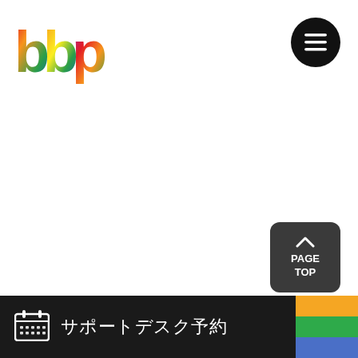[Figure (logo): bbp colorful logo with multi-colored letters in top left]
[Figure (other): Black circular hamburger menu button with three white horizontal lines, top right]
[Figure (other): Dark gray rounded rectangle PAGE TOP button with upward caret arrow, bottom right]
サポートデスク予約